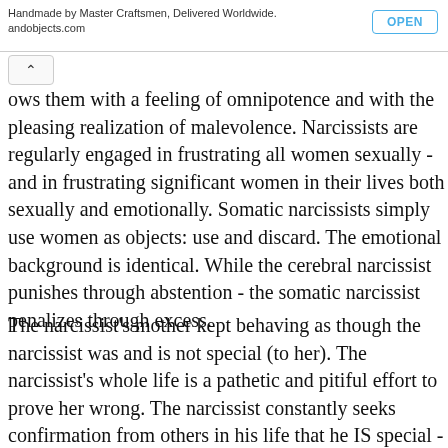Handmade by Master Craftsmen, Delivered Worldwide.
andobjects.com
ows them with a feeling of omnipotence and with the pleasing realization of malevolence. Narcissists are regularly engaged in frustrating all women sexually - and in frustrating significant women in their lives both sexually and emotionally. Somatic narcissists simply use women as objects: use and discard. The emotional background is identical. While the cerebral narcissist punishes through abstention - the somatic narcissist penalizes through excess.
The narcissist's mother kept behaving as though the narcissist was and is not special (to her). The narcissist's whole life is a pathetic and pitiful effort to prove her wrong. The narcissist constantly seeks confirmation from others in his life that he IS special - in other words, that he IS. Women threaten this. Sex is "bestial" and "common". There is nothing "special or unique" about sex. Women are